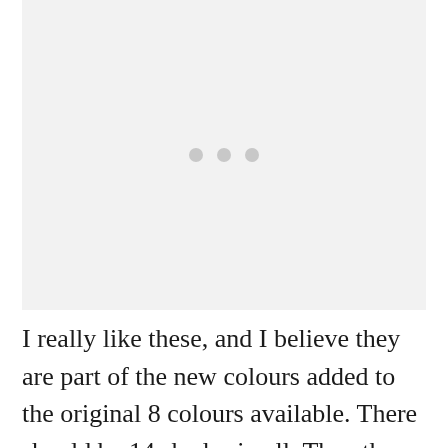[Figure (photo): Image placeholder with three light grey dots centered on a light grey background]
I really like these, and I believe they are part of the new colours added to the original 8 colours available. There should be 14 shades in all. The other shades didn't quite appeal to me the way Laura Mercier's did. So if you're